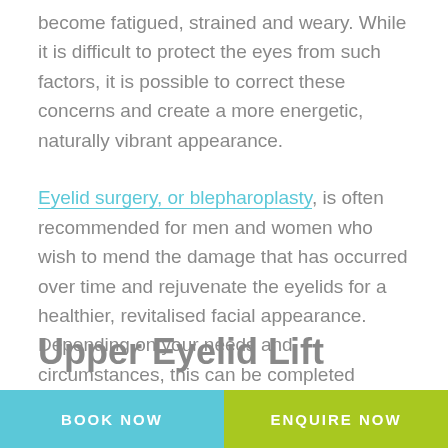become fatigued, strained and weary. While it is difficult to protect the eyes from such factors, it is possible to correct these concerns and create a more energetic, naturally vibrant appearance.
Eyelid surgery, or blepharoplasty, is often recommended for men and women who wish to mend the damage that has occurred over time and rejuvenate the eyelids for a healthier, revitalised facial appearance. Depending on your needs and circumstances, this can be completed through an upper eyelid lift, lower eyelid lift or a combination of the two.
Upper Eyelid Lift
BOOK NOW   ENQUIRE NOW